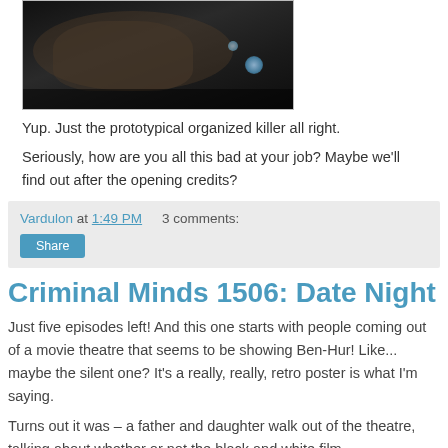[Figure (photo): Dark image of a furry creature/animal in a dimly lit setting]
Yup. Just the prototypical organized killer all right.
Seriously, how are you all this bad at your job? Maybe we'll find out after the opening credits?
Vardulon at 1:49 PM   3 comments:
Share
Criminal Minds 1506: Date Night
Just five episodes left! And this one starts with people coming out of a movie theatre that seems to be showing Ben-Hur! Like... maybe the silent one? It's a really, really, retro poster is what I'm saying.
Turns out it was – a father and daughter walk out of the theatre, talking about whether or not the black and white film